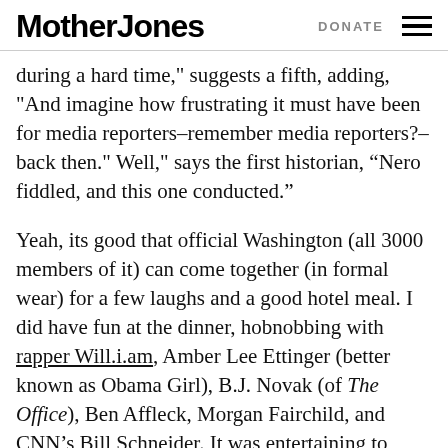Mother Jones | DONATE
during a hard time," suggests a fifth, adding, "And imagine how frustrating it must have been for media reporters–remember media reporters?–back then." Well," says the first historian, "Nero fiddled, and this one conducted."
Yeah, its good that official Washington (all 3000 members of it) can come together (in formal wear) for a few laughs and a good hotel meal. I did have fun at the dinner, hobnobbing with rapper Will.i.am, Amber Lee Ettinger (better known as Obama Girl), B.J. Novak (of The Office), Ben Affleck, Morgan Fairchild, and CNN's Bill Schneider. It was entertaining to watch James Connaughton, the chairman of the White House Council on